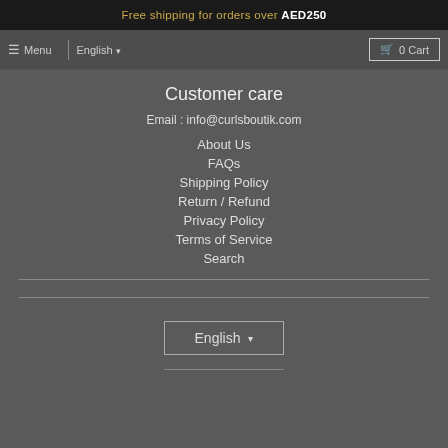Free shipping for orders over AED250
Menu | English | 0 Cart
Customer care
Email : info@curlsboutik.com
About Us
FAQs
Shipping Policy
Return / Refund
Privacy Policy
Terms of Service
Search
English